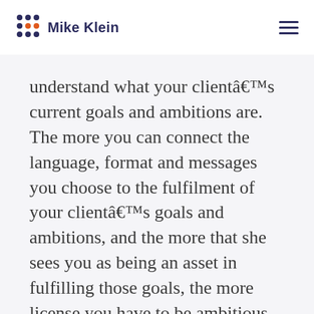Mike Klein
understand what your clientâ€™s current goals and ambitions are. The more you can connect the language, format and messages you choose to the fulfilment of your clientâ€™s goals and ambitions, and the more that she sees you as being an asset in fulfilling those goals, the more license you have to be ambitious.
4)Â Â Â Â Â  Add small amounts of